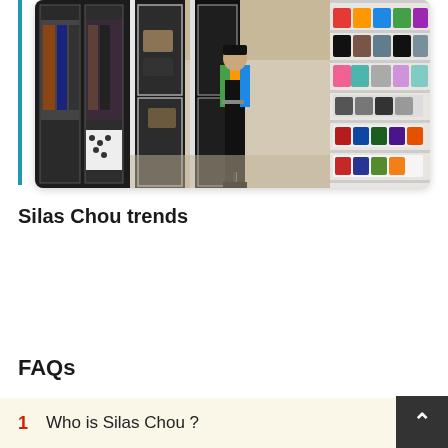[Figure (photo): Person standing in a large walk-in closet with glass-front wardrobe cabinets on the left containing clothes and bags, and shelving units on the right displaying shoes. The person is wearing a colorful floral blazer with black pants.]
Silas Chou trends
FAQs
1  Who is Silas Chou ?